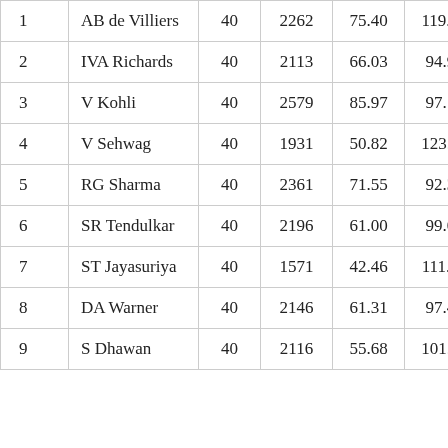| # | Player | Inns | Runs | Avg | SR |  |
| --- | --- | --- | --- | --- | --- | --- |
| 1 | AB de Villiers | 40 | 2262 | 75.40 | 119.12 |  |
| 2 | IVA Richards | 40 | 2113 | 66.03 | 94.92 |  |
| 3 | V Kohli | 40 | 2579 | 85.97 | 97.17 |  |
| 4 | V Sehwag | 40 | 1931 | 50.82 | 123.78 |  |
| 5 | RG Sharma | 40 | 2361 | 71.55 | 92.30 |  |
| 6 | SR Tendulkar | 40 | 2196 | 61.00 | 99.05 |  |
| 7 | ST Jayasuriya | 40 | 1571 | 42.46 | 111.50 |  |
| 8 | DA Warner | 40 | 2146 | 61.31 | 97.46 |  |
| 9 | S Dhawan | 40 | 2116 | 55.68 | 101.24 |  |